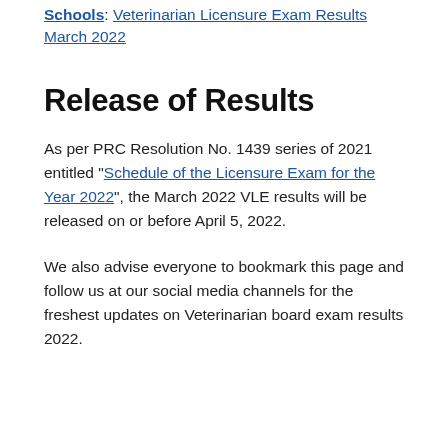Schools: Veterinarian Licensure Exam Results March 2022
Release of Results
As per PRC Resolution No. 1439 series of 2021 entitled “Schedule of the Licensure Exam for the Year 2022”, the March 2022 VLE results will be released on or before April 5, 2022.
We also advise everyone to bookmark this page and follow us at our social media channels for the freshest updates on Veterinarian board exam results 2022.